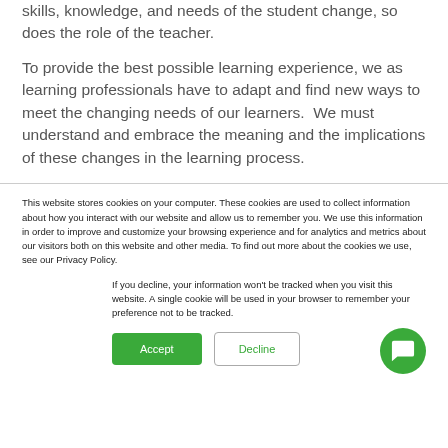skills, knowledge, and needs of the student change, so does the role of the teacher.
To provide the best possible learning experience, we as learning professionals have to adapt and find new ways to meet the changing needs of our learners.  We must understand and embrace the meaning and the implications of these changes in the learning process.
This website stores cookies on your computer. These cookies are used to collect information about how you interact with our website and allow us to remember you. We use this information in order to improve and customize your browsing experience and for analytics and metrics about our visitors both on this website and other media. To find out more about the cookies we use, see our Privacy Policy.
If you decline, your information won't be tracked when you visit this website. A single cookie will be used in your browser to remember your preference not to be tracked.